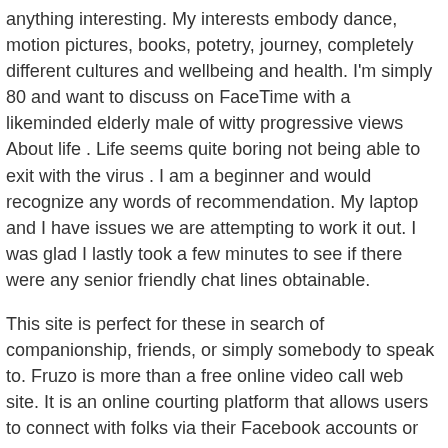anything interesting. My interests embody dance, motion pictures, books, potetry, journey, completely different cultures and wellbeing and health. I'm simply 80 and want to discuss on FaceTime with a likeminded elderly male of witty progressive views About life . Life seems quite boring not being able to exit with the virus . I am a beginner and would recognize any words of recommendation. My laptop and I have issues we are attempting to work it out. I was glad I lastly took a few minutes to see if there were any senior friendly chat lines obtainable.
This site is perfect for these in search of companionship, friends, or simply somebody to speak to. Fruzo is more than a free online video call web site. It is an online courting platform that allows users to connect with folks via their Facebook accounts or create a new profile to make use of this network. You can discover a match, join with individuals, observe folks, video chat, and make new pals all inside this platform. It has a search function that allows you to discover connections by location, gender, age, or keyword.
But in the end, this always is dependent upon many elements. With